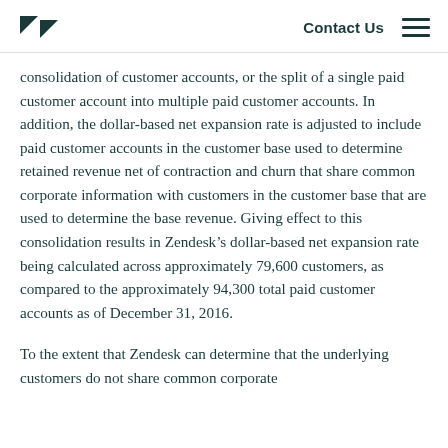Zendesk | Contact Us
consolidation of customer accounts, or the split of a single paid customer account into multiple paid customer accounts. In addition, the dollar-based net expansion rate is adjusted to include paid customer accounts in the customer base used to determine retained revenue net of contraction and churn that share common corporate information with customers in the customer base that are used to determine the base revenue. Giving effect to this consolidation results in Zendesk’s dollar-based net expansion rate being calculated across approximately 79,600 customers, as compared to the approximately 94,300 total paid customer accounts as of December 31, 2016.
To the extent that Zendesk can determine that the underlying customers do not share common corporate